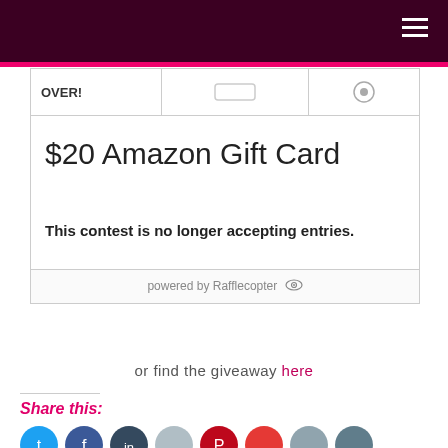OVER!
$20 Amazon Gift Card
This contest is no longer accepting entries.
powered by Rafflecopter
or find the giveaway here
Share this: